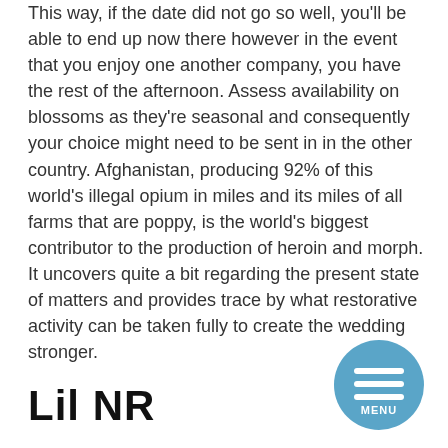This way, if the date did not go so well, you'll be able to end up now there however in the event that you enjoy one another company, you have the rest of the afternoon. Assess availability on blossoms as they're seasonal and consequently your choice might need to be sent in in the other country. Afghanistan, producing 92% of this world's illegal opium in miles and its miles of all farms that are poppy, is the world's biggest contributor to the production of heroin and morph. It uncovers quite a bit regarding the present state of matters and provides trace by what restorative activity can be taken fully to create the wedding stronger.
Lil NR
[Figure (other): Circular blue menu button with three horizontal white lines and the word MENU below them]